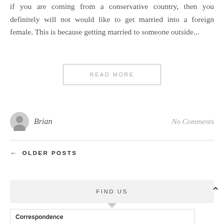if you are coming from a conservative country, then you definitely will not would like to get married into a foreign female. This is because getting married to someone outside...
READ MORE
Brian
No Comments
← OLDER POSTS
FIND US
Correspondence